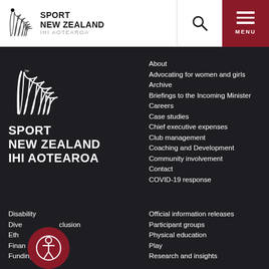[Figure (logo): Sport New Zealand IHI Aotearoa logo in header with silver fern icon]
[Figure (logo): Search icon (magnifying glass) in header]
[Figure (logo): Hamburger menu icon with MENU label on dark red background]
[Figure (logo): Sport New Zealand IHI Aotearoa white logo on dark background]
About
Advocating for women and girls
Archive
Briefings to the Incoming Minister
Careers
Case studies
Chief executive expenses
Club management
Coaching and Development
Community involvement
Contact
COVID-19 response
Disability
Diversity and inclusion
Ethics
Finance
Funding
Official information releases
Participant groups
Physical education
Play
Research and insights